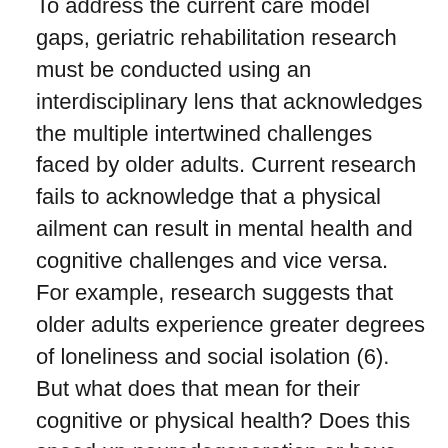To address the current care model gaps, geriatric rehabilitation research must be conducted using an interdisciplinary lens that acknowledges the multiple intertwined challenges faced by older adults. Current research fails to acknowledge that a physical ailment can result in mental health and cognitive challenges and vice versa. For example, research suggests that older adults experience greater degrees of loneliness and social isolation (6). But what does that mean for their cognitive or physical health? Does this speed up neurodegeneration or have no effect? Do these challenges impact balance or motor coordination?
Conducting research on the relationships between the different aspects of health will inform rehabilitation practices to be more holistic and interdisciplinary. If there is a tangible relationship, older adults experiencing